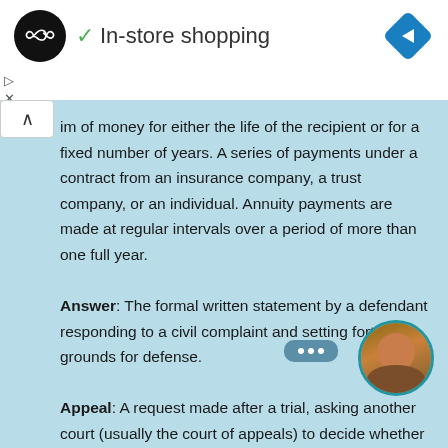[Figure (logo): Black circle logo with infinity/loop symbol in white]
✓ In-store shopping
[Figure (other): Blue navigation diamond/arrow icon top right]
im of money for either the life of the recipient or for a fixed number of years. A series of payments under a contract from an insurance company, a trust company, or an individual. Annuity payments are made at regular intervals over a period of more than one full year.
Answer: The formal written statement by a defendant responding to a civil complaint and setting forth the grounds for defense.
Appeal: A request made after a trial, asking another court (usually the court of appeals) to decide whether the trial was conducted properly. To make such a request is to "appeal" or "to take an appeal." One who appeals is called the appellant.